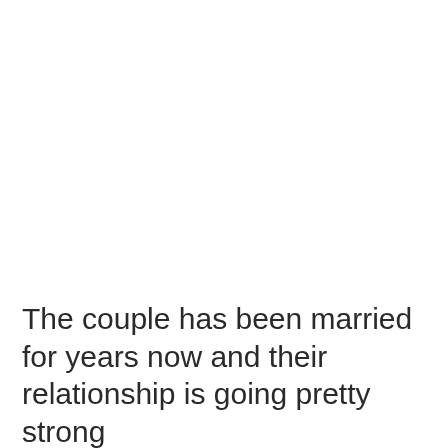The couple has been married for years now and their relationship is going pretty strong